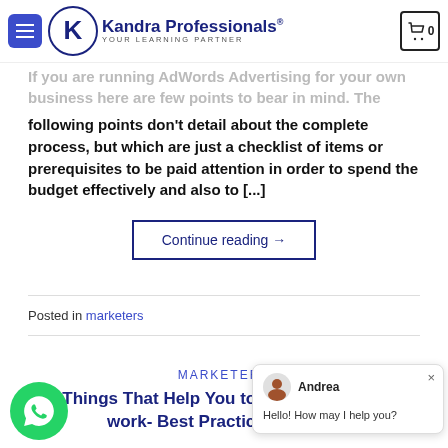Kandra Professionals® — YOUR LEARNING PARTNER
If you are running AdWords Advertising for your own business here are few points to bear in mind. The following points don't detail about the complete process, but which are just a checklist of items or prerequisites to be paid attention in order to spend the budget effectively and also to [...]
Continue reading →
Posted in marketers
MARKETERS
15 Things That Help You to Get Recognized at work- Best Practices at Work